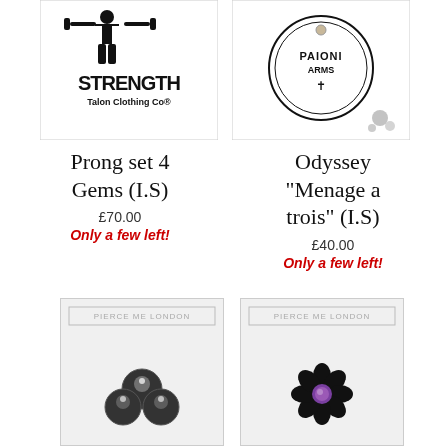[Figure (photo): Product image for Prong set 4 Gems (I.S) - black and white strength themed jewelry card]
[Figure (photo): Product image for Odyssey Menage a trois (I.S) - black and white circular design jewelry card]
Prong set 4 Gems (I.S)
£70.00
Only a few left!
Odyssey "Menage a trois" (I.S)
£40.00
Only a few left!
[Figure (photo): Pierce Me London product card with small black crystal cluster jewelry piece]
[Figure (photo): Pierce Me London product card with black flower shaped jewelry with purple center]